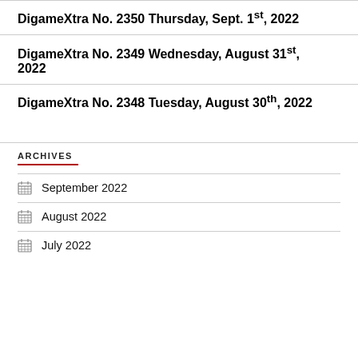DigameXtra No. 2350 Thursday, Sept. 1st, 2022
DigameXtra No. 2349 Wednesday, August 31st, 2022
DigameXtra No. 2348 Tuesday, August 30th, 2022
ARCHIVES
September 2022
August 2022
July 2022